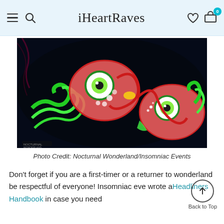iHeartRaves
[Figure (photo): Two colorful illuminated fish lantern sculptures with neon green and pink colors against a dark background at Nocturnal Wonderland festival]
Photo Credit: Nocturnal Wonderland/Insomniac Events
Don't forget if you are a first-timer or a returner to wonderland be respectful of everyone! Insomniac eve wrote a Headliners Handbook in case you need